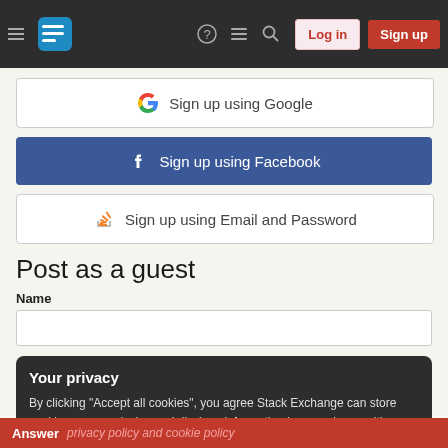Stack Exchange navigation bar with Log in and Sign up buttons
Sign up using Google
Sign up using Facebook
Sign up using Email and Password
Post as a guest
Name
Your privacy
By clicking "Accept all cookies", you agree Stack Exchange can store cookies on your device and disclose information in accordance with our Cookie Policy.
Accept all cookies
Customize settings
Answer  privacy policy and cookie policy